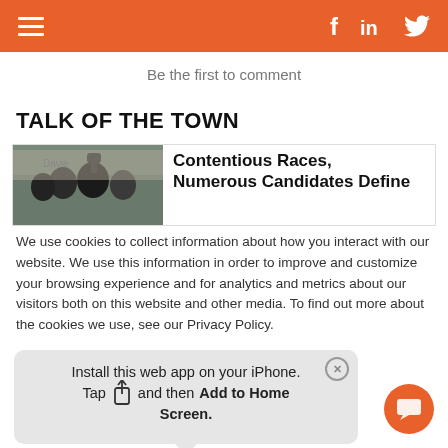[Navigation header with hamburger menu and social icons: f, in, Twitter bird]
Be the first to comment
TALK OF THE TOWN
[Figure (photo): Photo of people wearing black masks at a public event, one person raising a fist]
Contentious Races, Numerous Candidates Define
We use cookies to collect information about how you interact with our website. We use this information in order to improve and customize your browsing experience and for analytics and metrics about our visitors both on this website and other media. To find out more about the cookies we use, see our Privacy Policy.

If you decline, your information won't be tracked
Install this web app on your iPhone. Tap [share icon] and then Add to Home Screen.